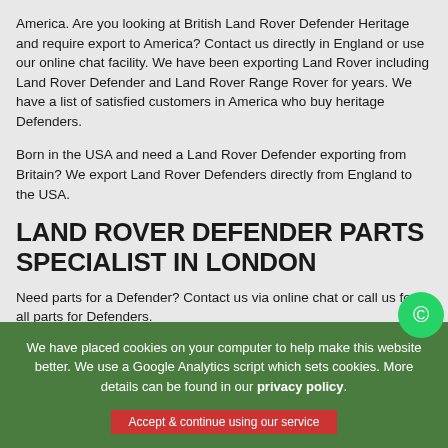America. Are you looking at British Land Rover Defender Heritage and require export to America? Contact us directly in England or use our online chat facility. We have been exporting Land Rover including Land Rover Defender and Land Rover Range Rover for years. We have a list of satisfied customers in America who buy heritage Defenders.
Born in the USA and need a Land Rover Defender exporting from Britain? We export Land Rover Defenders directly from England to the USA.
LAND ROVER DEFENDER PARTS SPECIALIST IN LONDON
Need parts for a Defender? Contact us via online chat or call us for all parts for Defenders.
WE BUY LAND ROVER DEFENDERS IN LONDON
Selling your defender? Contact us online or call today for
We have placed cookies on your computer to help make this website better. We use a Google Analytics script which sets cookies. More details can be found in our privacy policy.